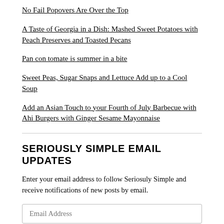No Fail Popovers Are Over the Top
A Taste of Georgia in a Dish: Mashed Sweet Potatoes with Peach Preserves and Toasted Pecans
Pan con tomate is summer in a bite
Sweet Peas, Sugar Snaps and Lettuce Add up to a Cool Soup
Add an Asian Touch to your Fourth of July Barbecue with Ahi Burgers with Ginger Sesame Mayonnaise
SERIOUSLY SIMPLE EMAIL UPDATES
Enter your email address to follow Seriosuly Simple and receive notifications of new posts by email.
Email Address
FOLLOW